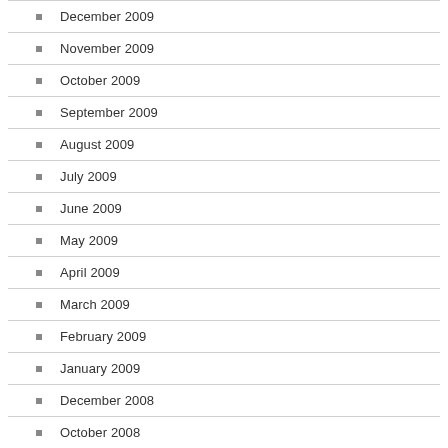December 2009
November 2009
October 2009
September 2009
August 2009
July 2009
June 2009
May 2009
April 2009
March 2009
February 2009
January 2009
December 2008
October 2008
September 2008